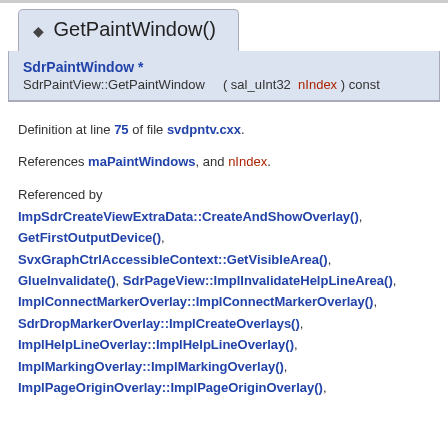GetPaintWindow()
SdrPaintWindow * SdrPaintView::GetPaintWindow ( sal_uInt32 nIndex ) const
Definition at line 75 of file svdpntv.cxx.
References maPaintWindows, and nIndex.
Referenced by ImpSdrCreateViewExtraData::CreateAndShowOverlay(), GetFirstOutputDevice(), SvxGraphCtrlAccessibleContext::GetVisibleArea(), GlueInvalidate(), SdrPageView::ImplInvalidateHelpLineArea(), ImplConnectMarkerOverlay::ImplConnectMarkerOverlay(), SdrDropMarkerOverlay::ImplCreateOverlays(), ImplHelpLineOverlay::ImplHelpLineOverlay(), ImplMarkingOverlay::ImplMarkingOverlay(), ImplPageOriginOverlay::ImplPageOriginOverlay(),